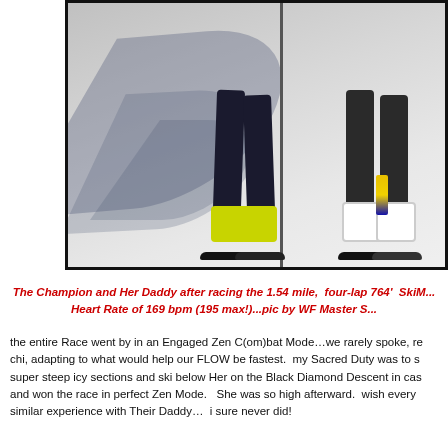[Figure (photo): Two skiers standing on snow, showing only their lower bodies (legs and ski boots). Left skier wears black ski pants and yellow ski boots with skis. Right skier wears dark pants and white ski boots. A ski pole is visible between them. Long diagonal shadows are cast on the snow.]
The Champion and Her Daddy after racing the 1.54 mile, four-lap 764' SkiM... Heart Rate of 169 bpm (195 max!)...pic by WF Master S...
the entire Race went by in an Engaged Zen C(om)bat Mode…we rarely spoke, re chi, adapting to what would help our FLOW be fastest. my Sacred Duty was to s super steep icy sections and ski below Her on the Black Diamond Descent in cas and won the race in perfect Zen Mode. She was so high afterward. wish every similar experience with Their Daddy… i sure never did!